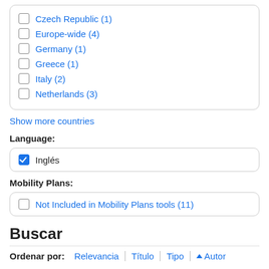Czech Republic (1)
Europe-wide (4)
Germany (1)
Greece (1)
Italy (2)
Netherlands (3)
Show more countries
Language:
Inglés
Mobility Plans:
Not Included in Mobility Plans tools (11)
Buscar
Ordenar por: Relevancia | Título | Tipo | Autor